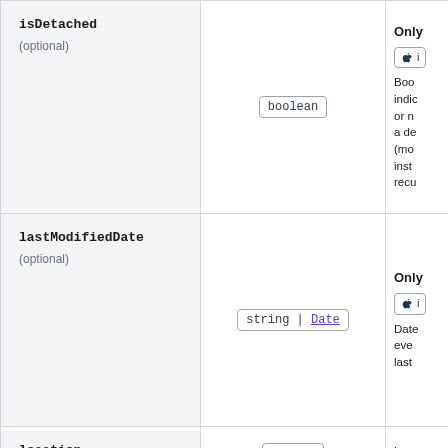| Parameter | Type | Description |
| --- | --- | --- |
| isDetached
(optional) | boolean | Only
🍎 i
Boo indica or n a de (mo inst recu |
| lastModifiedDate
(optional) | string | Date | Only
🍎 i
Date eve last |
| location | string | Loca the |